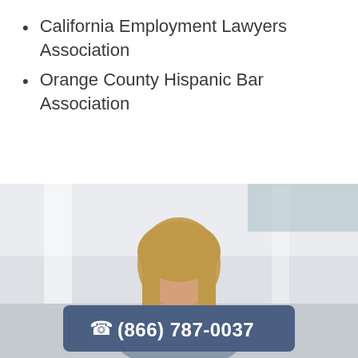California Employment Lawyers Association
Orange County Hispanic Bar Association
[Figure (photo): Photo of a woman with blonde hair in a professional setting, with a phone number overlay bar showing (866) 787-0037]